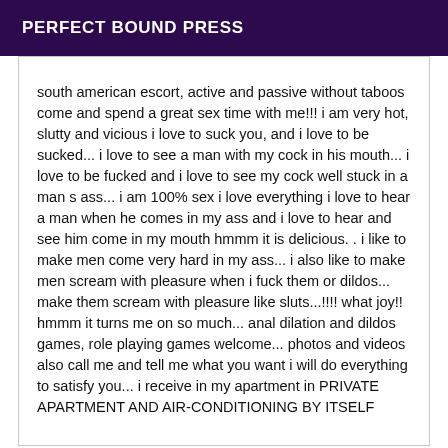PERFECT BOUND PRESS
south american escort, active and passive without taboos come and spend a great sex time with me!!! i am very hot, slutty and vicious i love to suck you, and i love to be sucked... i love to see a man with my cock in his mouth... i love to be fucked and i love to see my cock well stuck in a man s ass... i am 100% sex i love everything i love to hear a man when he comes in my ass and i love to hear and see him come in my mouth hmmm it is delicious. . i like to make men come very hard in my ass... i also like to make men scream with pleasure when i fuck them or dildos... make them scream with pleasure like sluts...!!!! what joy!! hmmm it turns me on so much... anal dilation and dildos games, role playing games welcome... photos and videos also call me and tell me what you want i will do everything to satisfy you... i receive in my apartment in PRIVATE APARTMENT AND AIR-CONDITIONING BY ITSELF